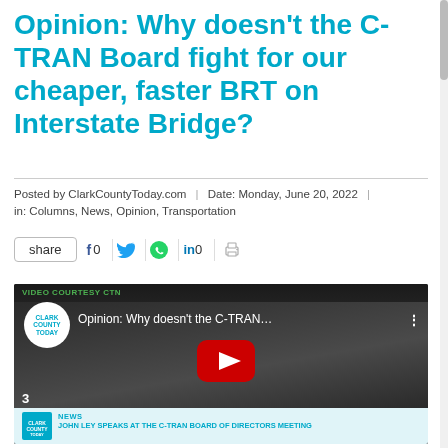Opinion: Why doesn’t the C-TRAN Board fight for our cheaper, faster BRT on Interstate Bridge?
Posted by ClarkCountyToday.com | Date: Monday, June 20, 2022 | in: Columns, News, Opinion, Transportation
[Figure (screenshot): Social share bar with share button, Facebook (f 0), Twitter bird icon, WhatsApp icon, LinkedIn (in 0), and print icon]
[Figure (screenshot): YouTube video embed showing a man in a dark jacket seated at a table with the video title 'Opinion: Why doesn’t the C-TRAN…' and a red YouTube play button. Subtitle reads 'I have a simple question for you.' and video number 3 is shown. Clark County Today logo is shown. Below is a related article banner: NEWS - JOHN LEY SPEAKS AT THE C-TRAN BOARD OF DIRECTORS MEETING]